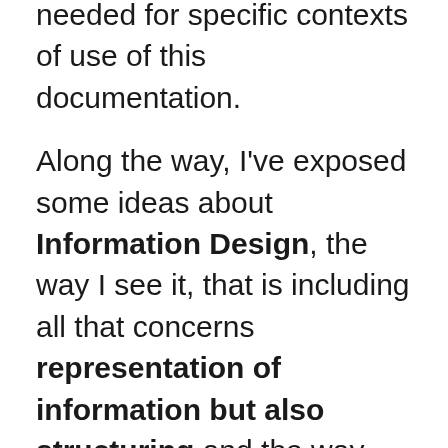needed for specific contexts of use of this documentation.
Along the way, I've exposed some ideas about Information Design, the way I see it, that is including all that concerns representation of information but also structuring and the way they are interrelated.